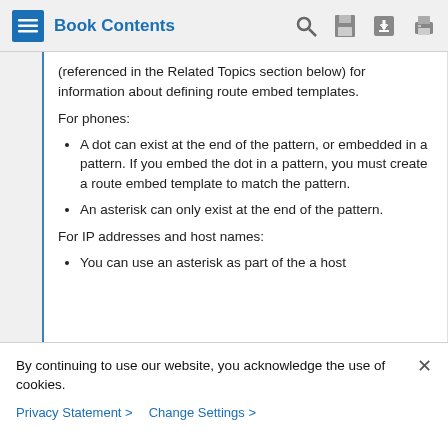Book Contents
(referenced in the Related Topics section below) for information about defining route embed templates.
For phones:
A dot can exist at the end of the pattern, or embedded in a pattern. If you embed the dot in a pattern, you must create a route embed template to match the pattern.
An asterisk can only exist at the end of the pattern.
For IP addresses and host names:
You can use an asterisk as part of the a host
By continuing to use our website, you acknowledge the use of cookies.
Privacy Statement > Change Settings >